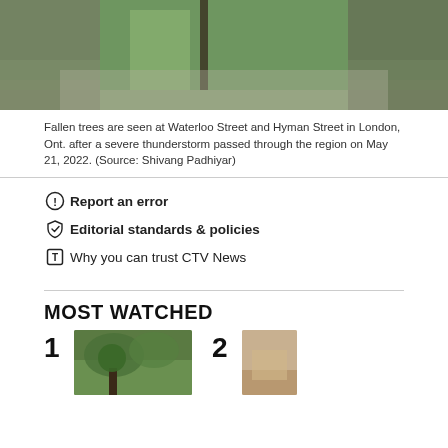[Figure (photo): Photo of flooded area with fallen trees at Waterloo Street and Hyman Street in London, Ontario after severe thunderstorm, May 21, 2022. Green grass, muddy water, bare tree visible.]
Fallen trees are seen at Waterloo Street and Hyman Street in London, Ont. after a severe thunderstorm passed through the region on May 21, 2022. (Source: Shivang Padhiyar)
Report an error
Editorial standards & policies
Why you can trust CTV News
MOST WATCHED
[Figure (photo): Thumbnail photo number 1 in Most Watched section, showing green trees/outdoor scene.]
[Figure (photo): Thumbnail photo number 2 in Most Watched section, showing a light tan/beige scene.]